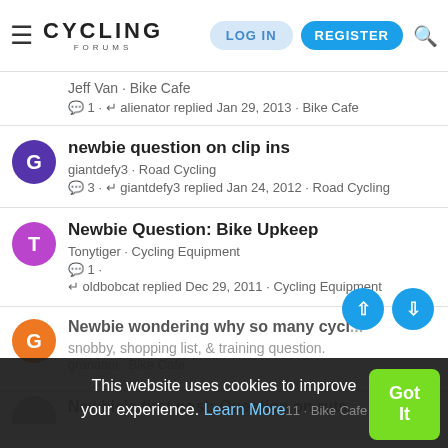Cycling Forums | LOG IN | REGISTER
Jeff Van · Bike Cafe
💬1 · ↩ alienator replied Jan 29, 2013 · Bike Cafe
newbie question on clip ins
giantdefy3 · Road Cycling
💬3 · ↩ giantdefy3 replied Jan 24, 2012 · Road Cycling
Newbie Question: Bike Upkeep
Tonytiger · Cycling Equipment
💬1 ·
↩ oldbobcat replied Dec 29, 2011 · Cycling Equipment
Newbie wondering why so many cyclists are snobby, shopping list, & training question.
granatini · Bike Cafe
...2011 · Bike Cafe
Newbie's first post: Question on ruts
This website uses cookies to improve your experience. Learn More
Got It